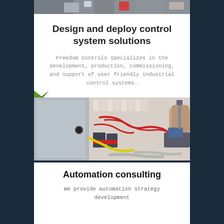[Figure (photo): Top cropped photo showing electrical wiring and control panel components]
Design and deploy control system solutions
Freedom Controls specializes in the development, production, commissioning, and support of user friendly industrial control systems.
[Figure (photo): Technician working on an open industrial control panel box with red wiring, circuit breakers, and contactors]
Automation consulting
We provide automation strategy development